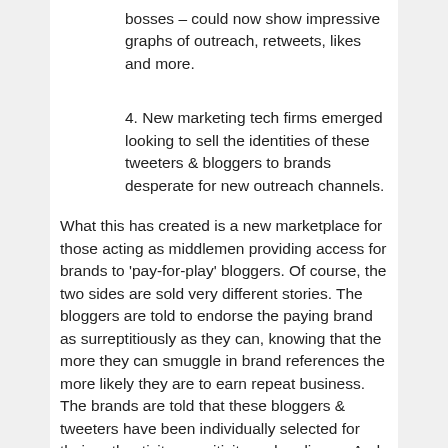bosses – could now show impressive graphs of outreach, retweets, likes and more.
4. New marketing tech firms emerged looking to sell the identities of these tweeters & bloggers to brands desperate for new outreach channels.
What this has created is a new marketplace for those acting as middlemen providing access for brands to 'pay-for-play' bloggers. Of course, the two sides are sold very different stories. The bloggers are told to endorse the paying brand as surreptitiously as they can, knowing that the more they can smuggle in brand references the more likely they are to earn repeat business. The brands are told that these bloggers & tweeters have been individually selected for their authenticity, sensitivity and audience. And that all their bloggers operate a full disclosure policy to their audience. When the brand notices that the blogger hasn't disclosed their association they're told this was a one-off mistake. And far from being individually selected, the middlemen are playing a numbers game. They